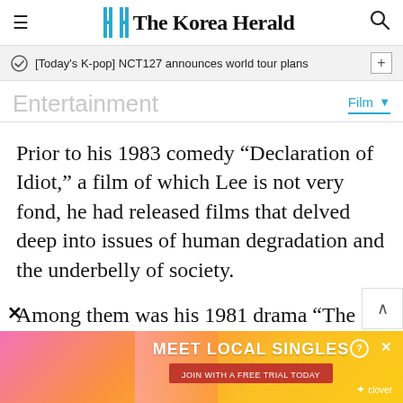The Korea Herald
[Today's K-pop] NCT127 announces world tour plans
Entertainment
Film
Prior to his 1983 comedy “Declaration of Idiot,” a film of which Lee is not very fond, he had released films that delved deep into issues of human degradation and the underbelly of society.
Among them was his 1981 drama “The People at Dark Streets,” a cinematic portrait of a
[Figure (other): Advertisement banner: 'MEET LOCAL SINGLES' with photo of woman and clover branding]